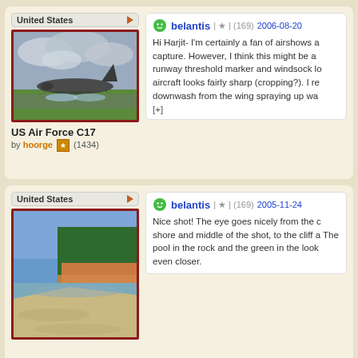[Figure (photo): United States map tag with orange arrow, photo thumbnail of US Air Force C17 military aircraft on runway with grass and cloudy sky, red border]
US Air Force C17
by hoorge (1434)
belantis | ★ | (169) 2006-08-20
Hi Harjit- I'm certainly a fan of airshows a... capture. However, I think this might be a ... runway threshold marker and windsock lo... aircraft looks fairly sharp (cropping?). I re... downwash from the wing spraying up wa...
[+]
[Figure (photo): United States map tag with orange arrow, photo thumbnail of scenic shoreline with sandy beach, red/orange rocky cliffs and green forested bluff]
belantis | ★ | (169) 2005-11-24
Nice shot! The eye goes nicely from the c... shore and middle of the shot, to the cliff a... The pool in the rock and the green in the... look even closer.